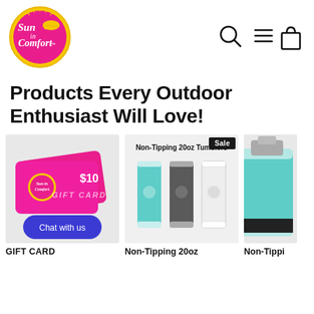[Figure (logo): Sun in Comfort circular logo with pink background and yellow sun illustration]
[Figure (illustration): Navigation icons: search magnifier, hamburger menu, and shopping bag]
Products Every Outdoor Enthusiast Will Love!
[Figure (photo): Sun in Comfort gift card showing $10 value with pink and blue design, Chat with us button overlay]
[Figure (photo): Non-Tipping 20oz Tumblers product image showing three tumblers in teal, grey, and white with Sale badge]
[Figure (photo): Partial product image showing a teal tumbler or insulator partially cut off on right edge]
GIFT CARD
Non-Tipping 20oz
Non-Tippi